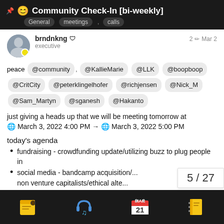📌 😊 Community Check-In [bi-weekly]
General  meetings,  calls
brndnkng 🛡 executive   2 ✏ Mar 2
peace @community , @KallieMarie @LLK @boopboop @CritCity @peterklingelhofer @richjensen @Nick_M @Sam_Martyn @sganesh @Hakanto
just giving a heads up that we will be meeting tomorrow at 🌐 March 3, 2022 4:00 PM → 🌐 March 3, 2022 5:00 PM
today's agenda
fundraising - crowdfunding update/utilizing buzz to plug people in
social media - bandcamp acquisition/... non venture capitalists/ethical alte... buffer/prepping social media post...
5 / 27